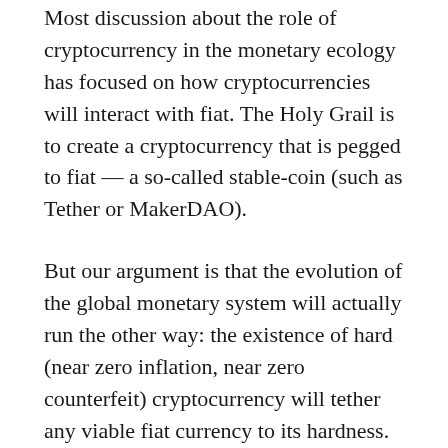Most discussion about the role of cryptocurrency in the monetary ecology has focused on how cryptocurrencies will interact with fiat. The Holy Grail is to create a cryptocurrency that is pegged to fiat — a so-called stable-coin (such as Tether or MakerDAO).
But our argument is that the evolution of the global monetary system will actually run the other way: the existence of hard (near zero inflation, near zero counterfeit) cryptocurrency will tether any viable fiat currency to its hardness. No viable fiat currency will be able to depart from the cryptocurrency hardness tether without experiencing degradation.